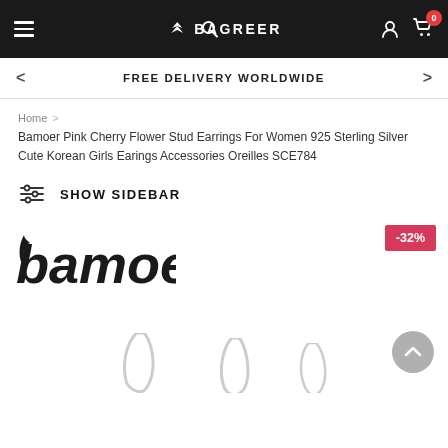BAGREER
FREE DELIVERY WORLDWIDE
Home > Bamoer Pink Cherry Flower Stud Earrings For Women 925 Sterling Silver Cute Korean Girls Earings Accessories Oreilles SCE784
SHOW SIDEBAR
[Figure (logo): Bamoer brand logo in dark text]
[Figure (photo): Product photo showing silver earrings, partially visible at the bottom of the page. Discount badge showing -32% in top right corner.]